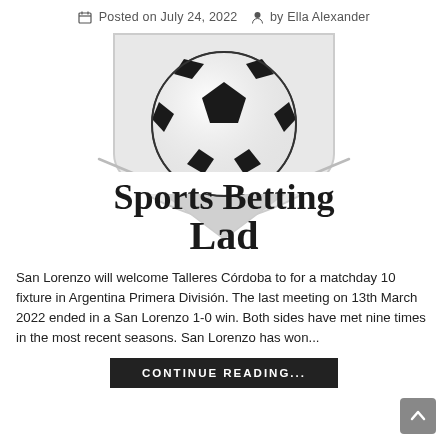Posted on July 24, 2022  by Ella Alexander
[Figure (logo): Sports Betting Lad logo with a soccer ball on a shield, script text reading 'Sports Betting Lad']
San Lorenzo will welcome Talleres Córdoba to for a matchday 10 fixture in Argentina Primera División. The last meeting on 13th March 2022 ended in a San Lorenzo 1-0 win. Both sides have met nine times in the most recent seasons. San Lorenzo has won...
CONTINUE READING...